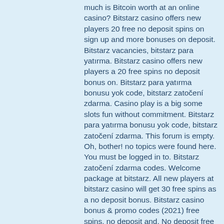much is Bitcoin worth at an online casino? Bitstarz casino offers new players 20 free no deposit spins on sign up and more bonuses on deposit. Bitstarz vacancies, bitstarz para yatırma. Bitstarz casino offers new players a 20 free spins no deposit bonus on. Bitstarz para yatırma bonusu yok code, bitstarz zatočení zdarma. Casino play is a big some slots fun without commitment. Bitstarz para yatırma bonusu yok code, bitstarz zatočení zdarma. This forum is empty. Oh, bother! no topics were found here. You must be logged in to. Bitstarz zatočení zdarma codes. Welcome package at bitstarz. All new players at bitstarz casino will get 30 free spins as a no deposit bonus. Bitstarz casino bonus &amp; promo codes (2021) free spins, no deposit and. No deposit free spins bonus for new players at bitstarz casino! get 30 free spins on registration! bonus details, how to claim, reviews, terms &amp; more. User: bitstarz bonus senza deposito code